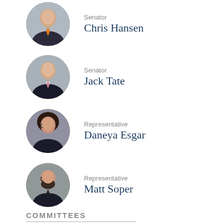[Figure (photo): Circular portrait photo of Senator Chris Hansen, man in suit with orange tie]
Senator
Chris Hansen
[Figure (photo): Circular portrait photo of Senator Jack Tate, man in dark suit with pink tie]
Senator
Jack Tate
[Figure (photo): Circular portrait photo of Representative Daneya Esgar, woman with glasses and dark curly hair]
Representative
Daneya Esgar
[Figure (photo): Circular portrait photo of Representative Matt Soper, man with glasses and dark beard in suit]
Representative
Matt Soper
COMMITTEES